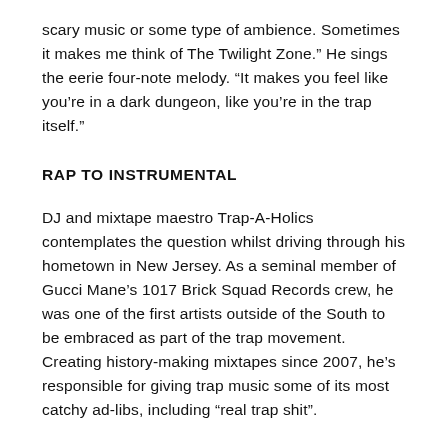scary music or some type of ambience. Sometimes it makes me think of The Twilight Zone.” He sings the eerie four-note melody. “It makes you feel like you’re in a dark dungeon, like you’re in the trap itself.”
RAP TO INSTRUMENTAL
DJ and mixtape maestro Trap-A-Holics contemplates the question whilst driving through his hometown in New Jersey. As a seminal member of Gucci Mane’s 1017 Brick Squad Records crew, he was one of the first artists outside of the South to be embraced as part of the trap movement. Creating history-making mixtapes since 2007, he’s responsible for giving trap music some of its most catchy ad-libs, including “real trap shit”.